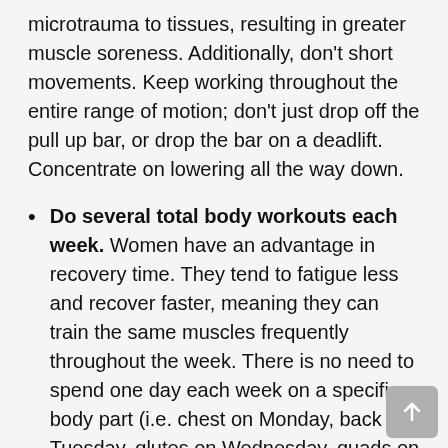microtrauma to tissues, resulting in greater muscle soreness. Additionally, don't short movements. Keep working throughout the entire range of motion; don't just drop off the pull up bar, or drop the bar on a deadlift. Concentrate on lowering all the way down.
Do several total body workouts each week. Women have an advantage in recovery time. They tend to fatigue less and recover faster, meaning they can train the same muscles frequently throughout the week. There is no need to spend one day each week on a specific body part (i.e. chest on Monday, back on Tuesday, glutes on Wednesday, quads on Thursday, etc.) like many of the men in your life may be doing. One day each